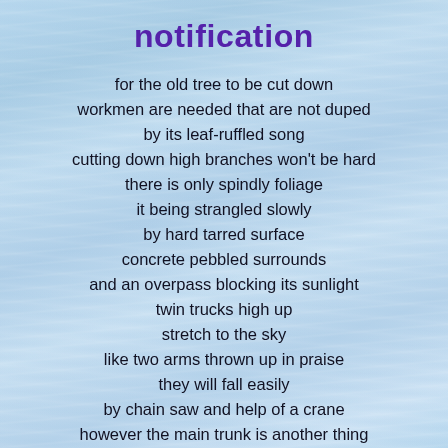notification
for the old tree to be cut down
workmen are needed that are not duped
by its leaf-ruffled song
cutting down high branches won't be hard
there is only spindly foliage
it being strangled slowly
by hard tarred surface
concrete pebbled surrounds
and an overpass blocking its sunlight
twin trucks high up
stretch to the sky
like two arms thrown up in praise
they will fall easily
by chain saw and help of a crane
however the main trunk is another thing
its presence is formidable
only the hectic scream of a powerful chain saw
can finally silence it